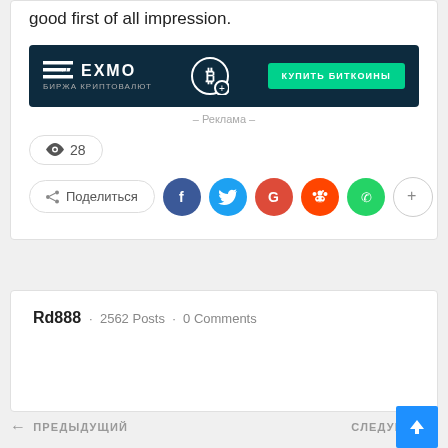good first of all impression.
[Figure (other): EXMO cryptocurrency exchange advertisement banner with 'КУПИТЬ БИТКОИНЫ' (Buy Bitcoins) button]
- Реклама -
👁 28
< Поделиться [Facebook] [Twitter] [Google] [Reddit] [WhatsApp] [+]
Rd888 · 2562 Posts · 0 Comments
← ПРЕДЫДУЩИЙ   СЛЕДУЮЩИЙ